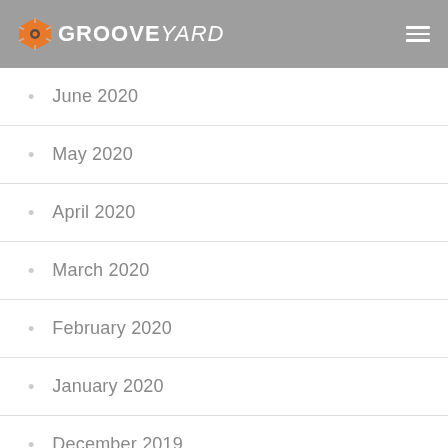GROOVEYARD
June 2020
May 2020
April 2020
March 2020
February 2020
January 2020
December 2019
November 2019